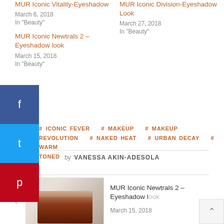MUR Iconic Vitality-Eyeshadow
March 6, 2018
In "Beauty"
MUR Iconic Division-Eyeshadow Look
March 27, 2018
In "Beauty"
MUR Iconic Newtrals 2 – Eyeshadow look
March 15, 2018
In "Beauty"
# ICONIC FEVER  # MAKEUP  # MAKEUP REVOLUTION  # NAKED HEAT  # URBAN DECAY  # WARM TONED
by VANESSA AKIN-ADESOLA
MUR Iconic Newtrals 2 – Eyeshadow look
March 15, 2018